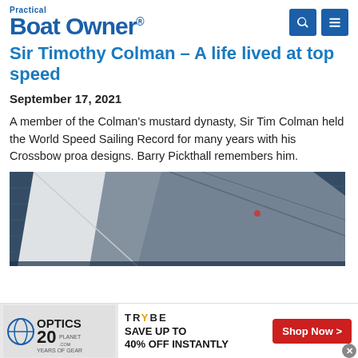Practical Boat Owner
Sir Timothy Colman – A life lived at top speed
September 17, 2021
A member of the Colman's mustard dynasty, Sir Tim Colman held the World Speed Sailing Record for many years with his Crossbow proa designs. Barry Pickthall remembers him.
[Figure (photo): Aerial/overhead view of a sailing vessel on water, showing sail and deck from above]
[Figure (infographic): Advertisement bar: Optics Planet '20 Years of Gear' on left; Trybe logo with 'Save up to 40% off instantly' and red 'Shop Now >' button on right]